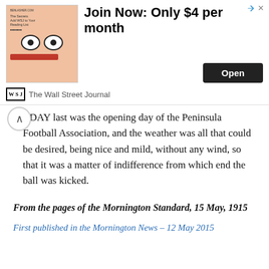[Figure (other): Advertisement banner for The Wall Street Journal: 'Join Now: Only $4 per month' with an Open button and WSJ logo]
RDAY last was the opening day of the Peninsula Football Association, and the weather was all that could be desired, being nice and mild, without any wind, so that it was a matter of indifference from which end the ball was kicked.
From the pages of the Mornington Standard, 15 May, 1915
First published in the Mornington News – 12 May 2015